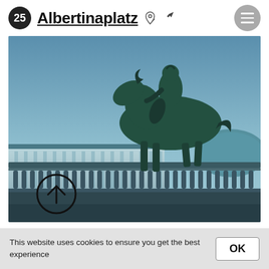25 Albertinaplatz
[Figure (photo): Bronze equestrian statue atop a stone balustrade against a blue sky, with a classical building visible in the background. A circular arrow-up navigation button is visible in the lower-left corner of the image.]
This website uses cookies to ensure you get the best experience